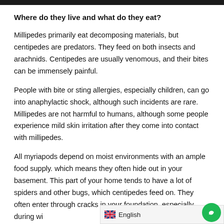Where do they live and what do they eat?
Millipedes primarily eat decomposing materials, but centipedes are predators. They feed on both insects and arachnids. Centipedes are usually venomous, and their bites can be immensely painful.
People with bite or sting allergies, especially children, can go into anaphylactic shock, although such incidents are rare. Millipedes are not harmful to humans, although some people experience mild skin irritation after they come into contact with millipedes.
All myriapods depend on moist environments with an ample food supply. which means they often hide out in your basement. This part of your home tends to have a lot of spiders and other bugs, which centipedes feed on. They often enter through cracks in your foundation, especially during wi